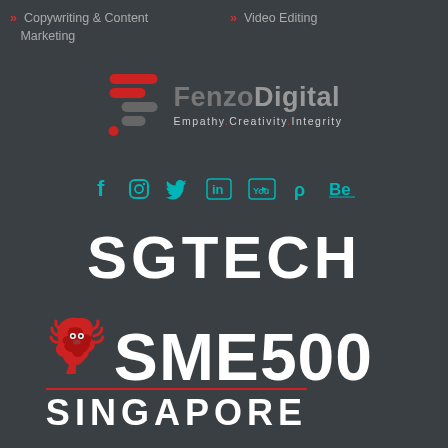»  Copywriting & Content Marketing
»  Video Editing
[Figure (logo): FenzoDigital logo with stylized 'S' icon made of red and gray horizontal bars, company name 'FenzoDigital' in gray, tagline 'Empathy. Creativity. Integrity' in light gray]
[Figure (logo): Social media icons row: Facebook, Instagram, Twitter, LinkedIn, YouTube, Pinterest, Behance — all in teal/cyan color]
[Figure (logo): SGTECH logo in large bold white text]
[Figure (logo): SME500 Singapore logo with red lion head icon, 'SME500' in large bold white text, 'SINGAPORE' in bold white text with red underline]